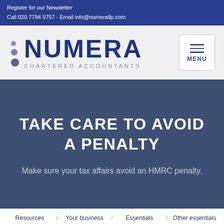Register for our Newsletter
Call 020 7794 5757 - Email info@numerallp.com
[Figure (logo): Numera Chartered Accountants logo with three dots and MENU button]
TAKE CARE TO AVOID A PENALTY
Make sure your tax affairs avoid an HMRC penalty.
Resources  /  Your business  /  Essentials  /  Other essentials